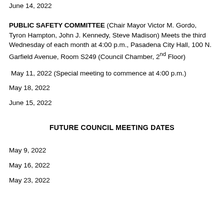June 14, 2022
PUBLIC SAFETY COMMITTEE (Chair Mayor Victor M. Gordo, Tyron Hampton, John J. Kennedy, Steve Madison) Meets the third Wednesday of each month at 4:00 p.m., Pasadena City Hall, 100 N. Garfield Avenue, Room S249 (Council Chamber, 2nd Floor)
May 11, 2022 (Special meeting to commence at 4:00 p.m.)
May 18, 2022
June 15, 2022
FUTURE COUNCIL MEETING DATES
May 9, 2022
May 16, 2022
May 23, 2022